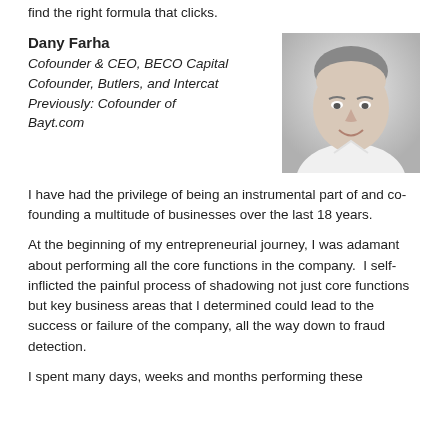find the right formula that clicks.
Dany Farha
Cofounder & CEO, BECO Capital
Cofounder, Butlers, and Intercat
Previously: Cofounder of Bayt.com
[Figure (photo): Black and white headshot photo of Dany Farha, a smiling man in a white collared shirt.]
I have had the privilege of being an instrumental part of and co-founding a multitude of businesses over the last 18 years.
At the beginning of my entrepreneurial journey, I was adamant about performing all the core functions in the company.  I self-inflicted the painful process of shadowing not just core functions but key business areas that I determined could lead to the success or failure of the company, all the way down to fraud detection.
I spent many days, weeks and months performing these